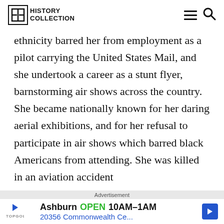HISTORY COLLECTION
ethnicity barred her from employment as a pilot carrying the United States Mail, and she undertook a career as a stunt flyer, barnstorming air shows across the country. She became nationally known for her daring aerial exhibitions, and for her refusal to participate in air shows which barred black Americans from attending. She was killed in an aviation accident
Advertisement
Ashburn OPEN 10AM–1AM
20356 Commonwealth Ce...